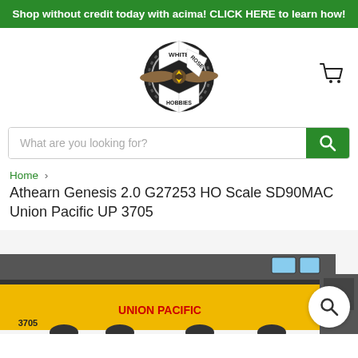Shop without credit today with acima! CLICK HERE to learn how!
[Figure (logo): White Rose Hobbies logo: circular gear/wheel with crossed banner ribbons reading WHITE ROSE and HOBBIES, with a propeller across the center]
[Figure (other): Shopping cart icon]
What are you looking for?
Home > Athearn Genesis 2.0 G27253 HO Scale SD90MAC Union Pacific UP 3705
Athearn Genesis 2.0 G27253 HO Scale SD90MAC Union Pacific UP 3705
[Figure (photo): Photo of Athearn Genesis 2.0 HO Scale SD90MAC Union Pacific locomotive #3705 in yellow and gray with UNION PACIFIC lettering, partially visible at bottom of page]